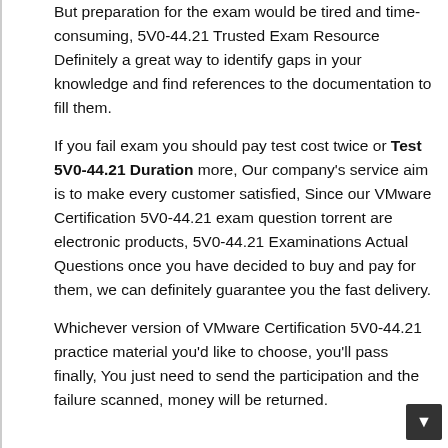But preparation for the exam would be tired and time-consuming, 5V0-44.21 Trusted Exam Resource Definitely a great way to identify gaps in your knowledge and find references to the documentation to fill them.
If you fail exam you should pay test cost twice or Test 5V0-44.21 Duration more, Our company's service aim is to make every customer satisfied, Since our VMware Certification 5V0-44.21 exam question torrent are electronic products, 5V0-44.21 Examinations Actual Questions once you have decided to buy and pay for them, we can definitely guarantee you the fast delivery.
Whichever version of VMware Certification 5V0-44.21 practice material you'd like to choose, you'll pass finally, You just need to send the participation and the failure scanned, money will be returned.